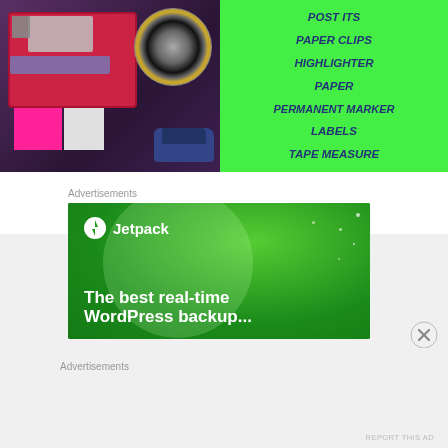[Figure (photo): Photo of office supplies including paper clips, post-it notes, tape roll, stapler, and a red organizer box on a purple background]
POST ITS
PAPER CLIPS
HIGHLIGHTER
PAPER
PERMANENT MARKER
LABELS
TAPE MEASURE
Advertisements
[Figure (screenshot): Jetpack advertisement banner on green background with logo and text 'The best real-time WordPress backup']
Advertisements